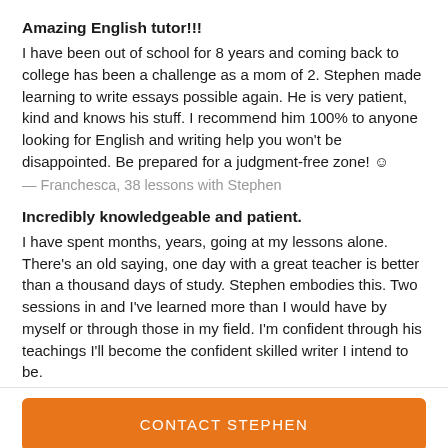Amazing English tutor!!!
I have been out of school for 8 years and coming back to college has been a challenge as a mom of 2. Stephen made learning to write essays possible again. He is very patient, kind and knows his stuff. I recommend him 100% to anyone looking for English and writing help you won't be disappointed. Be prepared for a judgment-free zone! ☺
— Franchesca, 38 lessons with Stephen
Incredibly knowledgeable and patient.
I have spent months, years, going at my lessons alone. There's an old saying, one day with a great teacher is better than a thousand days of study. Stephen embodies this. Two sessions in and I've learned more than I would have by myself or through those in my field. I'm confident through his teachings I'll become the confident skilled writer I intend to be.
CONTACT STEPHEN
Response time: 1 hour